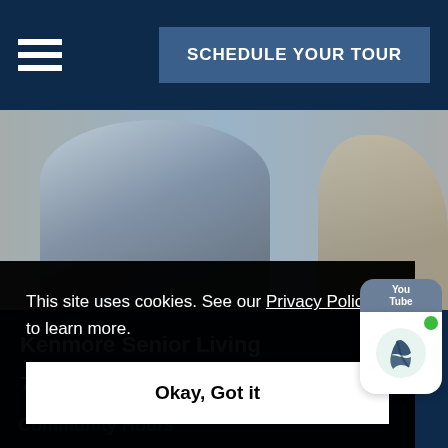SCHEDULE YOUR TOUR
[Figure (photo): Hero image showing a person seated, cropped torso view, muted blue-gray tones]
Kenmore Senior Living
7221 NE 182nd St.
This site uses cookies. See our Privacy Policy to learn more.
Okay, Got it
Community Hours